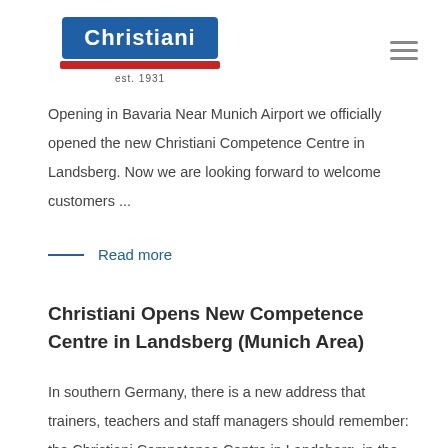[Figure (logo): Christiani logo with blue rectangle containing white 'Christiani' text, a red bar underneath, and 'est. 1931' text below]
Opening in Bavaria Near Munich Airport we officially opened the new Christiani Competence Centre in Landsberg. Now we are looking forward to welcome customers ...
Read more
Christiani Opens New Competence Centre in Landsberg (Munich Area)
In southern Germany, there is a new address that trainers, teachers and staff managers should remember: the Christiani Competence Centre in Landsberg, in the ...